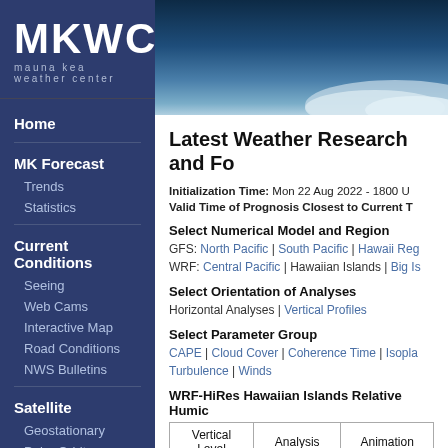[Figure (logo): MKWC mauna kea weather center logo on dark blue background]
Home
MK Forecast
Trends
Statistics
Current Conditions
Seeing
Web Cams
Interactive Map
Road Conditions
NWS Bulletins
Satellite
Geostationary
Polar Orbiter
Radar
Level II
[Figure (photo): Sky/clouds banner image]
Latest Weather Research and Fo
Initialization Time: Mon 22 Aug 2022 - 1800 U
Valid Time of Prognosis Closest to Current T
Select Numerical Model and Region
GFS: North Pacific | South Pacific | Hawaii Reg
WRF: Central Pacific | Hawaiian Islands | Big Is
Select Orientation of Analyses
Horizontal Analyses | Vertical Profiles
Select Parameter Group
CAPE | Cloud Cover | Coherence Time | Isopla
Turbulence | Winds
WRF-HiRes Hawaiian Islands Relative Humic
| Vertical Level | Analysis | Animation |
| --- | --- | --- |
| 250 mb | Current | 60 hr |
| 300 mb | Current | 60 hr |
| 600 mb | Current | 60 hr |
| 650 mb | Current | 60 hr |